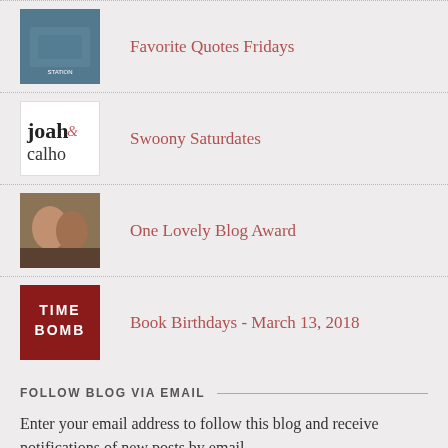Favorite Quotes Fridays
Swoony Saturdates
One Lovely Blog Award
Book Birthdays - March 13, 2018
FOLLOW BLOG VIA EMAIL
Enter your email address to follow this blog and receive notifications of new posts by email.
Enter your email address